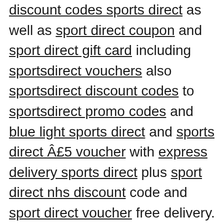discount codes sports direct as well as sport direct coupon and sport direct gift card including sportsdirect vouchers also sportsdirect discount codes to sportsdirect promo codes and blue light sports direct and sports direct Â£5 voucher with express delivery sports direct plus sport direct nhs discount code and sport direct voucher free delivery.